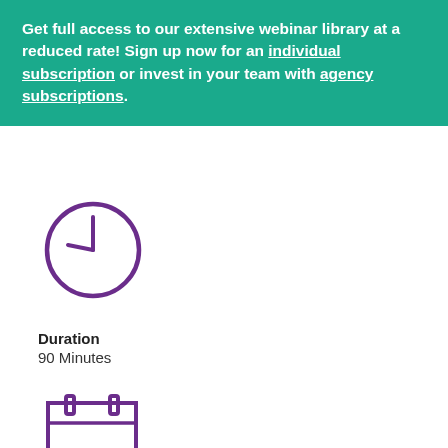Get full access to our extensive webinar library at a reduced rate! Sign up now for an individual subscription or invest in your team with agency subscriptions.
[Figure (illustration): Purple clock icon showing approximately 9:45 or 3:00 time position, circle outline with hour and minute hands]
Duration
90 Minutes
[Figure (illustration): Purple calendar/date icon, rectangle with two tabs at the top and a horizontal line dividing the header from the body]